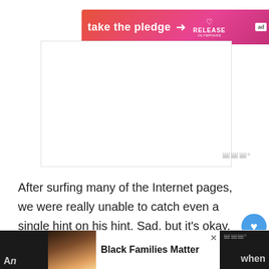[Figure (other): Advertisement banner with gradient pink/orange background reading 'take the pledge' with an arrow and RELEASE logo with heart icon and 'ad' badge]
[Figure (other): Large blank white advertisement area with a watermark 'www' in bottom right corner]
After surfing many of the Internet pages, we were really unable to catch even a single hint on his hint. Sad, but it's okay. Anyway, it leaves with a fine conclusion that the young and talented shooting guard, Jaden, must be probably single.
[Figure (other): Bottom advertisement strip showing Black Families Matter with an image of a Black family and a close button, flanked by dark panels with partial text 'An' on the left and 'when' on the right]